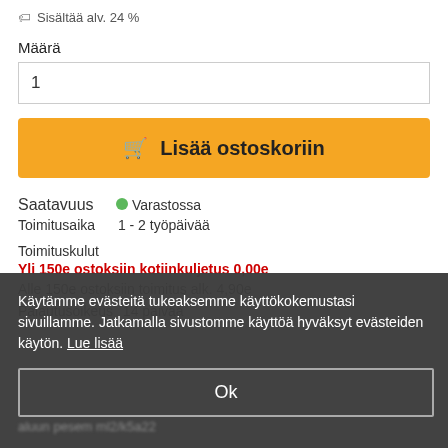Sisältää alv. 24 %
Määrä
1
🛒 Lisää ostoskoriin
Saatavuus  🟢 Varastossa
Toimitusaika    1 - 2 työpäivää
Toimituskulut
Yli 150e ostoksiin kotiinkuljetus 0,00e
Alle 150e ostoksiin toimitus alk. 4,90e
Palautusoikeus    14 päivää
Käytämme evästeitä tukeaksemme käyttökokemustasi sivuillamme. Jatkamalla sivustomme käyttöä hyväksyt evästeiden käytön. Lue lisää
Ok